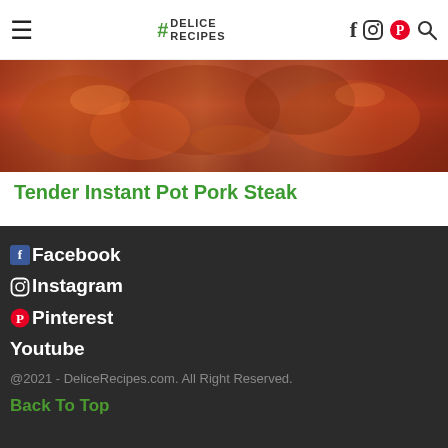# DELICE RECIPES (navigation header with hamburger menu, logo, social icons: Facebook, Instagram, Pinterest, Search)
[Figure (photo): Food image strip showing pork steak with red/orange tones]
Tender Instant Pot Pork Steak
Facebook
Instagram
Pinterest
Youtube
@2021 - DeliceRecipes.com. All Right Reserved.
Back To Top